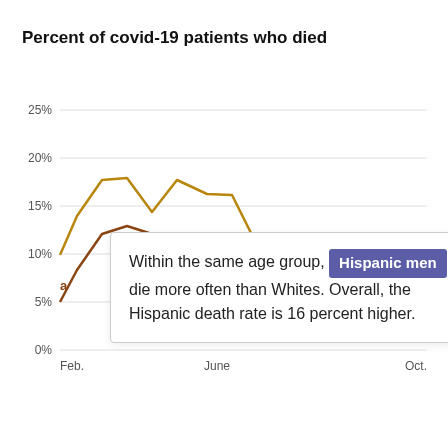Percent of covid-19 patients who died
[Figure (line-chart): Line chart showing percent of covid-19 patients who died over time from February to October, with two lines: White men (gold/dark yellow) peaking around 22% in early months then declining; and Hispanic men (brown) also peaking around 15% then declining. Both lines end around 3-4% by October.]
Within the same age group, Hispanic men die more often than Whites. Overall, the Hispanic death rate is 16 percent higher.